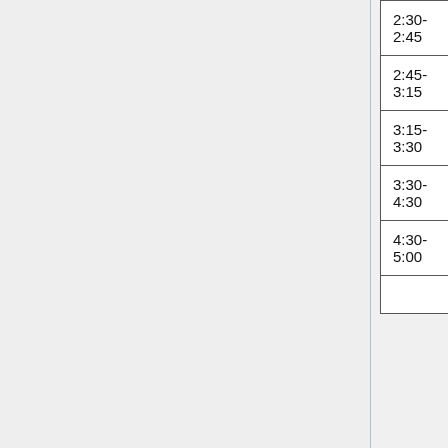| Time | Event | Location |
| --- | --- | --- |
| 2:30-2:45 | break | TLS 380 |
| 2:45-3:15 | EEB 3894 class | Bamford |
| 3:15-3:30 | set up for seminar |  |
| 3:30-4:30 | Seminar "The FRAME: a dispersed network for urban forest ecology" | BioPhysics 131 |
| 4:30-5:00 | Snacks | Bamford |